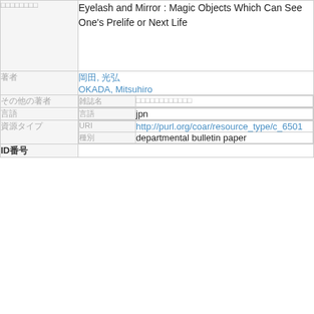| □□□□□□□□ | Eyelash and Mirror : Magic Objects Which Can See One's Prelife or Next Life |
| 著者 | 岡田, 光弘
OKADA, Mitsuhiro |
| その他の著者 |  |
| 雑誌名 | □□□□□□□□□□□□ |
| 言語 |  |
| 言語 | jpn |
| 資源タイプ |  |
| URI | http://purl.org/coar/resource_type/c_6501 |
| 種別 | departmental bulletin paper |
| ID番号 |  |